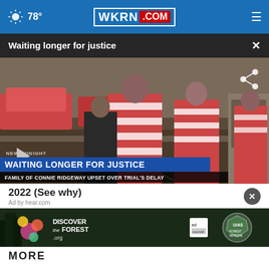78° WKRN.COM
Waiting longer for justice
[Figure (screenshot): News video still showing inmates in red and white striped uniforms being escorted outside. Lower third chyron reads 'NEW TONIGHT / WAITING LONGER FOR JUSTICE / FAMILY OF CONNIE RIDGEWAY UPSET OVER TRIAL'S DELAY']
2022 (See why)
Ad by hear.com
[Figure (illustration): Discover the Forest.org banner advertisement with colorful floral imagery and forest background, showing ad council and US Forest Service logos]
MORE